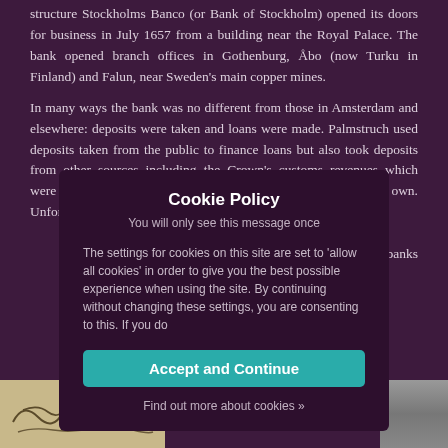structure Stockholms Banco (or Bank of Stockholm) opened its doors for business in July 1657 from a building near the Royal Palace. The bank opened branch offices in Gothenburg, Åbo (now Turku in Finland) and Falun, near Sweden's main copper mines.
In many ways the bank was no different from those in Amsterdam and elsewhere: deposits were taken and loans were made. Palmstruch used deposits taken from the public to finance loans but also took deposits from other sources including the Crown's customs revenues which were first paid to the b[ank and then remitted to the Cr]own. Unfortunately[, the deposits had]  not been taken in[ short-term instrumen]ts to fund longer [term loans — a liquid]ity problem for [banks, as deposits ]were withdrawn at[ short notice — and ]one which banks [have been advise]d to heed, all the [settings, you are consenting to this. If you do] exactly what brought
[Figure (photo): A partial image at bottom-left showing what appears to be an old handwritten document or signature on parchment/paper.]
[Figure (photo): A partial image at bottom-right showing what appears to be a grey object, possibly another historical artifact or document.]
Cookie Policy
You will only see this message once

The settings for cookies on this site are set to 'allow all cookies' in order to give you the best possible experience when using the site. By continuing without changing these settings, you are consenting to this. If you do

[Accept and Continue]

Find out more about cookies »